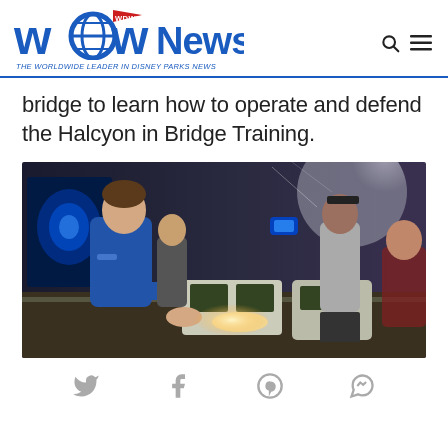WDW News Today — THE WORLDWIDE LEADER IN DISNEY PARKS NEWS
bridge to learn how to operate and defend the Halcyon in Bridge Training.
[Figure (photo): A young person in a blue uniform stands at a futuristic console on the bridge of the Halcyon starship. The bridge features glowing blue displays, control panels with screens, and other guests in the background looking out at a space scene.]
[Figure (infographic): Social sharing icons row: Twitter bird, Facebook f, Pinterest circle, Messenger icon]